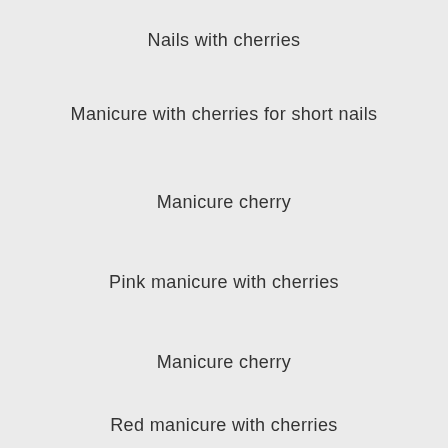Nails with cherries
Manicure with cherries for short nails
Manicure cherry
Pink manicure with cherries
Manicure cherry
Red manicure with cherries